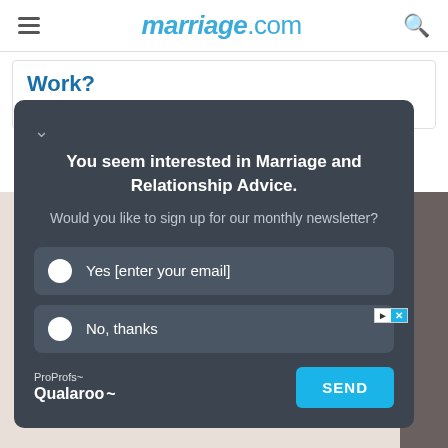marriage.com
Work?
By Sylvia Smith
[Figure (screenshot): A popup/widget from Qualaroo on marriage.com asking 'You seem interested in Marriage and Relationship Advice. Would you like to sign up for our monthly newsletter?' with Yes and No radio options and a SEND button.]
You seem interested in Marriage and Relationship Advice.
Would you like to sign up for our monthly newsletter?
Yes [enter your email]
No, thanks
ProProfs Qualaroo
SEND